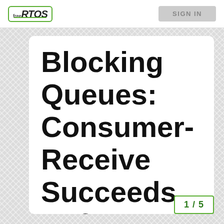FreeRTOS | SIGN IN
Blocking Queues: Consumer-Receive Succeeds Before Producer
1 / 5